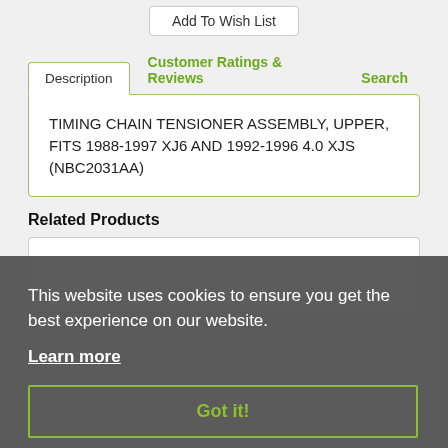Add To Wish List
Description
Customer Ratings & Reviews
Search
TIMING CHAIN TENSIONER ASSEMBLY, UPPER, FITS 1988-1997 XJ6 AND 1992-1996 4.0 XJS (NBC2031AA)
Related Products
This website uses cookies to ensure you get the best experience on our website.
Learn more
Got it!